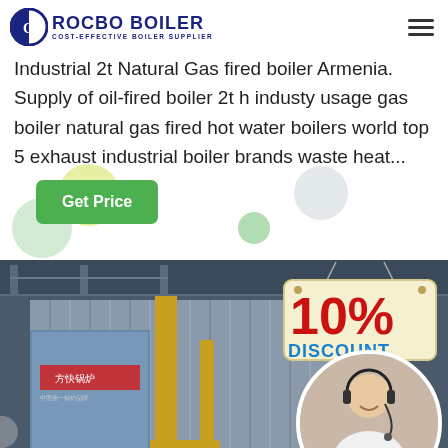ROCBO BOILER - COST-EFFECTIVE BOILER SUPPLIER
Industrial 2t Natural Gas fired boiler Armenia. Supply of oil-fired boiler 2t h industy usage gas boiler natural gas fired hot water boilers world top 5 exhaust industrial boiler brands waste heat...
[Figure (photo): Industrial gas boiler with yellow pipes in a factory setting, with a 10% DISCOUNT sign overlay and a customer service representative circle overlay]